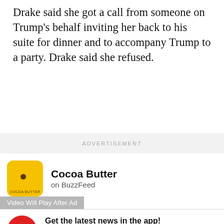Drake said she got a call from someone on Trump's behalf inviting her back to his suite for dinner and to accompany Trump to a party. Drake said she refused.
ADVERTISEMENT
[Figure (logo): Cocoa Butter on BuzzFeed logo - yellow square with brown dot, ad unit]
Video Will Play After Ad
Get the latest news in the app! Stay up to date on the most breaking news, all from your BuzzFeed app.
Maybe later
Get the app